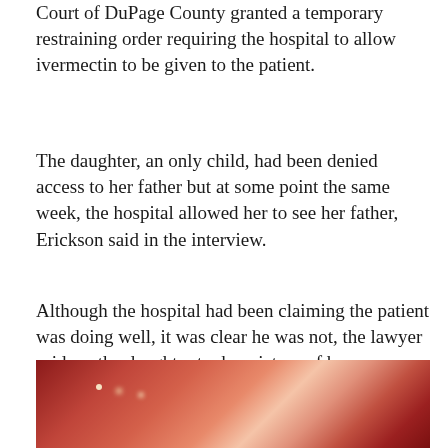Court of DuPage County granted a temporary restraining order requiring the hospital to allow ivermectin to be given to the patient.
The daughter, an only child, had been denied access to her father but at some point the same week, the hospital allowed her to see her father, Erickson said in the interview.
Although the hospital had been claiming the patient was doing well, it was clear he was not, the lawyer said, so the daughter took a picture of her desperately ill father on Nov. 4 and showed the graphic photograph to the judge to drive home the need for a new treatment plan.
[Figure (photo): Partial view of a graphic medical photograph showing a patient, reddish tones, bottom portion of the article page]